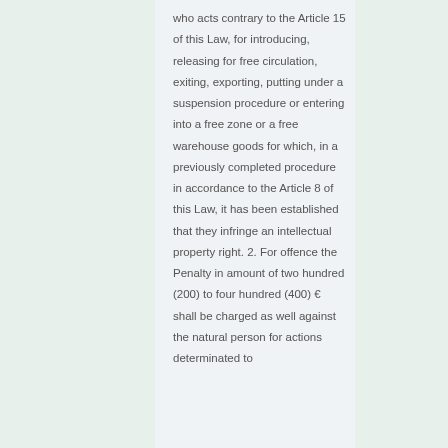who acts contrary to the Article 15 of this Law, for introducing, releasing for free circulation, exiting, exporting, putting under a suspension procedure or entering into a free zone or a free warehouse goods for which, in a previously completed procedure in accordance to the Article 8 of this Law, it has been established that they infringe an intellectual property right. 2. For offence the Penalty in amount of two hundred (200) to four hundred (400) € shall be charged as well against the natural person for actions determinated to